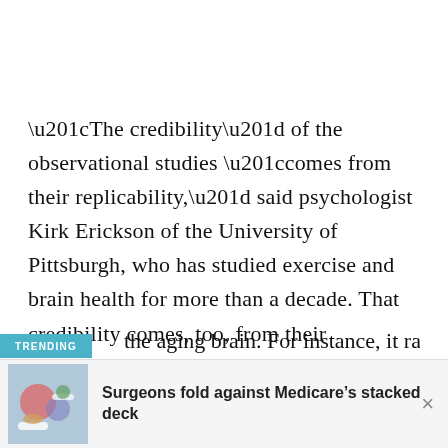“The credibility” of the observational studies “comes from their replicability,” said psychologist Kirk Erickson of the University of Pittsburgh, who has studied exercise and brain health for more than a decade. That credibility comes, too, from their agreement with studies of lab animals, which have identified molecular and cellular mechanisms by which physical activity can the aging brain. For instance, it raises
[Figure (screenshot): Trending news banner overlay with teal background label 'TRENDING' and a news article ad banner at bottom: thumbnail image of medical items, headline 'Surgeons fold against Medicare’s stacked deck', and a close X button.]